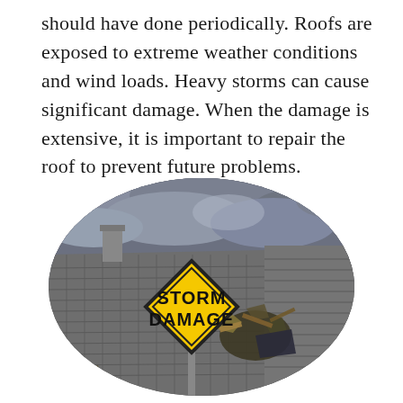should have done periodically. Roofs are exposed to extreme weather conditions and wind loads. Heavy storms can cause significant damage. When the damage is extensive, it is important to repair the roof to prevent future problems.
[Figure (photo): Oval-cropped photograph of a storm-damaged roof with broken tiles and debris, showing a yellow diamond-shaped warning sign reading 'STORM DAMAGE' in the foreground, with dark stormy clouds in the background.]